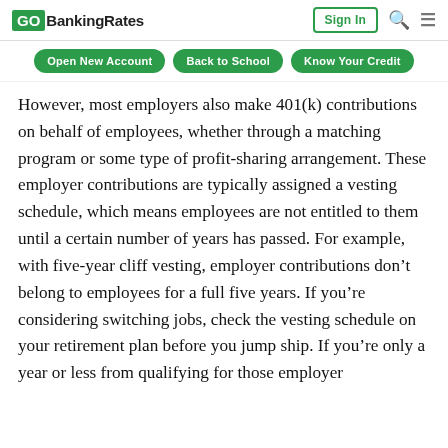GOBankingRates | Sign In
Open New Account | Back to School | Know Your Credit
However, most employers also make 401(k) contributions on behalf of employees, whether through a matching program or some type of profit-sharing arrangement. These employer contributions are typically assigned a vesting schedule, which means employees are not entitled to them until a certain number of years has passed. For example, with five-year cliff vesting, employer contributions don’t belong to employees for a full five years. If you’re considering switching jobs, check the vesting schedule on your retirement plan before you jump ship. If you’re only a year or less from qualifying for those employer